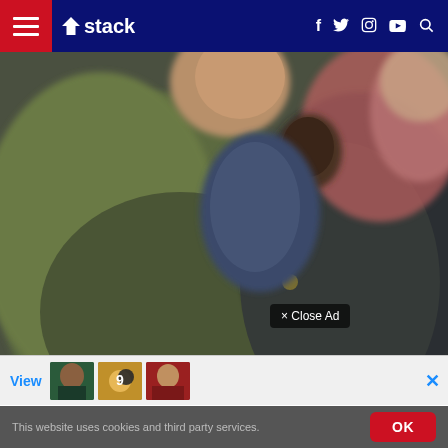Stack — navigation header with hamburger menu, logo, social icons (f, twitter, instagram, youtube), and search
[Figure (photo): Close-up blurry photograph of people, showing jackets/clothing in olive green and dark grey tones with a person visible in the background]
× Close Ad
[Figure (screenshot): Advertisement banner with thumbnail images of athletes and a blue 'View' link, with an X close button]
This website uses cookies and third party services.
OK